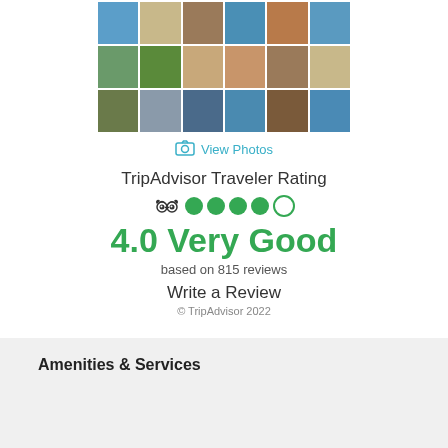[Figure (photo): Grid of 18 hotel/property photos arranged in 3 rows of 6 columns showing beach, room, and property images]
View Photos
TripAdvisor Traveler Rating
[Figure (infographic): TripAdvisor logo with 4 filled green circles and 1 empty circle representing 4.0 rating]
4.0 Very Good
based on 815 reviews
Write a Review
© TripAdvisor 2022
Amenities & Services